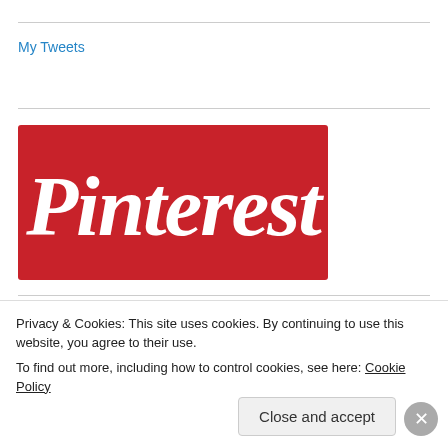My Tweets
[Figure (logo): Pinterest logo — white cursive text on red background]
[Figure (logo): Tumblr logo — dark navy bold lowercase text with thick outline]
Privacy & Cookies: This site uses cookies. By continuing to use this website, you agree to their use.
To find out more, including how to control cookies, see here: Cookie Policy